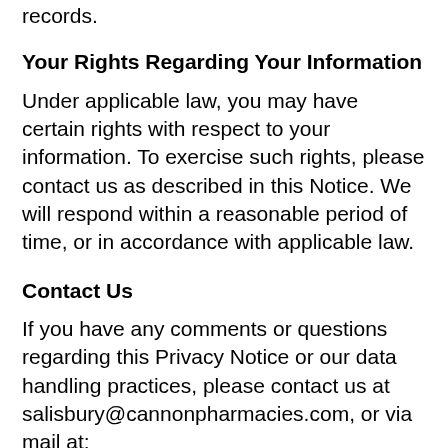records.
Your Rights Regarding Your Information
Under applicable law, you may have certain rights with respect to your information. To exercise such rights, please contact us as described in this Notice. We will respond within a reasonable period of time, or in accordance with applicable law.
Contact Us
If you have any comments or questions regarding this Privacy Notice or our data handling practices, please contact us at salisbury@cannonpharmacies.com, or via mail at: